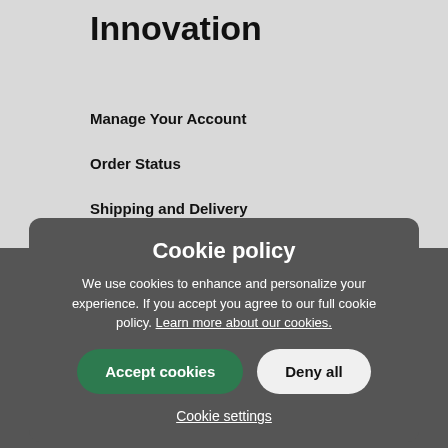Innovation
Manage Your Account
Order Status
Shipping and Delivery
Returns
Certified Refurbished
Dealer Store
Invest
Sonos for Business
Works with Sonos
Cookie policy
We use cookies to enhance and personalize your experience. If you accept you agree to our full cookie policy. Learn more about our cookies.
Accept cookies
Deny all
Cookie settings